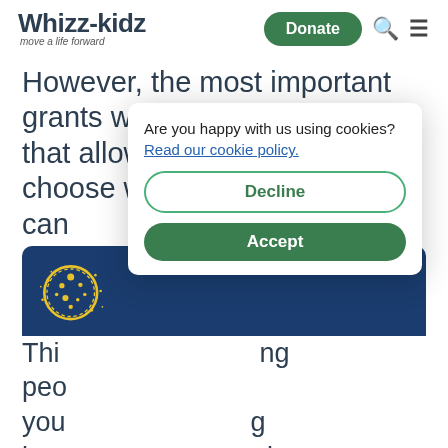Whizz-Kidz — move a life forward | Donate | Search | Menu
However, the most important grants we receive are those that allow us the flexibility to choose where the money can be spent.
[Figure (screenshot): Blue cookie consent banner with yellow cookie icon illustration]
Are you happy with us using cookies?
Read our cookie policy.
Decline
Accept
This [partially obscured text] ng people [partially obscured] you [partially obscured] g lon [partially obscured] nd clu [partially obscured] we know there are limited services but